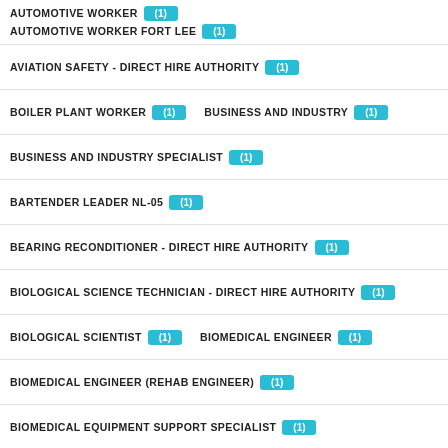AUTOMOTIVE WORKER (1)
AUTOMOTIVE WORKER FORT LEE (1)
AVIATION SAFETY - DIRECT HIRE AUTHORITY (1)
BOILER PLANT WORKER (1)
BUSINESS AND INDUSTRY (1)
BUSINESS AND INDUSTRY SPECIALIST (1)
BARTENDER LEADER NL-05 (1)
BEARING RECONDITIONER - DIRECT HIRE AUTHORITY (1)
BIOLOGICAL SCIENCE TECHNICIAN - DIRECT HIRE AUTHORITY (1)
BIOLOGICAL SCIENTIST (1)
BIOMEDICAL ENGINEER (1)
BIOMEDICAL ENGINEER (REHAB ENGINEER) (1)
BIOMEDICAL EQUIPMENT SUPPORT SPECIALIST (1)
BLIND REHABILITATION SPECIALIST (1)
BLOCKER AND BRACER - DIRECT HIRE AUTHORITY (1)
BLOCKER AND BRACER - DIRECT HIRE AUTHORITY EDWARDS AFB (1)